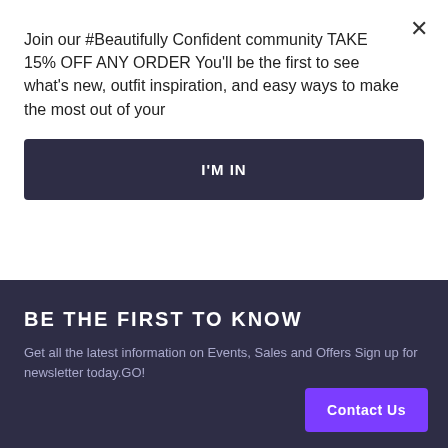Join our #Beautifully Confident community TAKE 15% OFF ANY ORDER You'll be the first to see what's new, outfit inspiration, and easy ways to make the most out of your
I'M IN
Floral Shoulder Tie Top
ADD TO CART
BE THE FIRST TO KNOW
Get all the latest information on Events, Sales and Offers Sign up for newsletter today.GO!
Contact Us